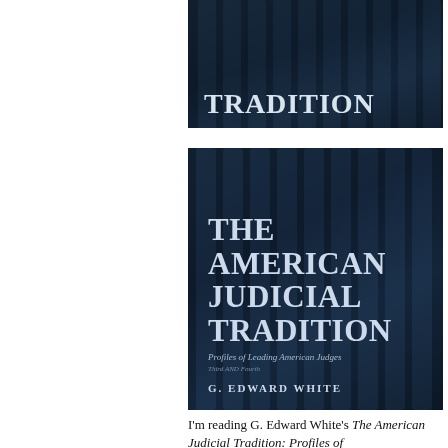[Figure (photo): Partial view of book cover for 'The American Judicial Tradition' showing architectural columns background and the word TRADITION in large white serif text on dark blue background]
[Figure (photo): Full book cover for 'The American Judicial Tradition: Profiles of Leading American Judges' by G. Edward White, featuring Greek/Roman columns in dark blue tones with white serif title text]
I'm reading G. Edward White's The American Judicial Tradition: Profiles of